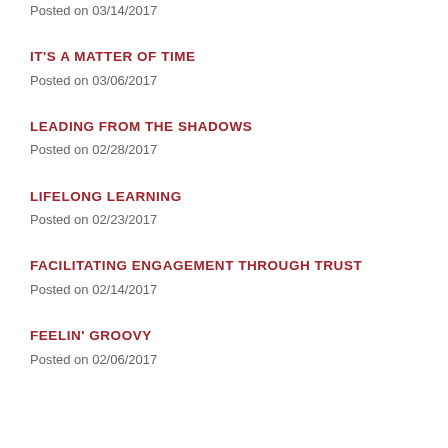Posted on 03/14/2017
IT'S A MATTER OF TIME
Posted on 03/06/2017
LEADING FROM THE SHADOWS
Posted on 02/28/2017
LIFELONG LEARNING
Posted on 02/23/2017
FACILITATING ENGAGEMENT THROUGH TRUST
Posted on 02/14/2017
FEELIN' GROOVY
Posted on 02/06/2017